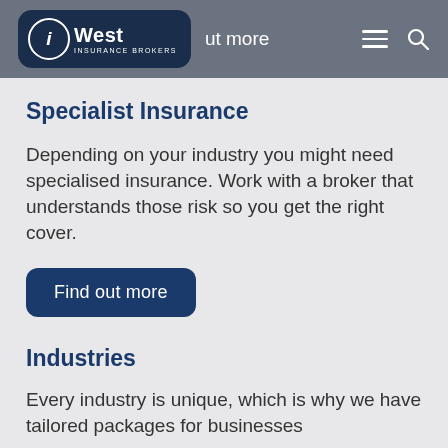iWest Insurance Brokers — Find out more
Specialist Insurance
Depending on your industry you might need specialised insurance. Work with a broker that understands those risk so you get the right cover.
Find out more
Industries
Every industry is unique, which is why we have tailored packages for businesses